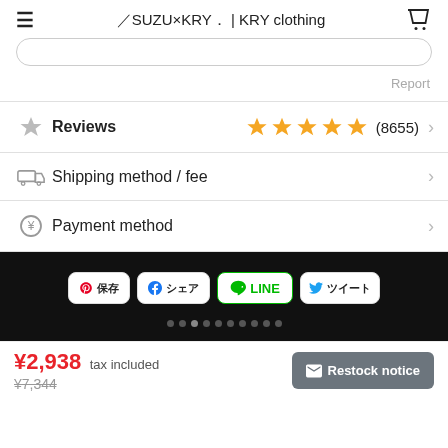☰  ▯SUZU×KRY▯ | KRY clothing  🛒
Report
Reviews  ★★★★★ (8655)
Shipping method / fee
Payment method
[Figure (screenshot): Social sharing buttons section on black background: Pinterest (保存), Facebook (シェア), LINE, Twitter (ツイート), with navigation dots below]
¥2,938 tax included
¥7,344
✉ Restock notice